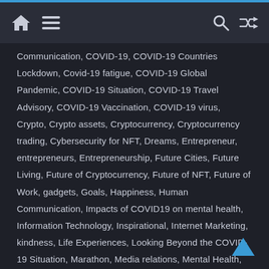Home Menu Search Shuffle
Communication, COVID-19, COVID-19 Countries Lockdown, Covid-19 fatigue, COVID-19 Global Pandemic, COVID-19 Situation, COVID-19 Travel Advisory, COVID-19 Vaccination, COVID-19 virus, Crypto, Crypto assets, Cryptocurrency, Cryptocurrency trading, Cybersecurity for NFT, Dreams, Entrepreneur, entrepreneurs, Entrepreneurship, Future Cities, Future Living, Future of Cryptocurrency, Future of NFT, Future of Work, gadgets, Goals, Happiness, Human Communication, Impacts of COVID19 on mental health, Information Technology, Inspirational, Internet Marketing, kindness, Life Experiences, Looking Beyond the COVID-19 Situation, Marathon, Media relations, Mental Health, Mental Health Awareness, Mental Health Issues, Mental Health Matters, Mentoring, Motivation, NFT, NFT for photographers, Online Marketing, Pass It On, Pay It Forward, Personal, Personal Development, Personal Stories, Personal Updates, photography, photography + creative / digital agency, Photography Business,